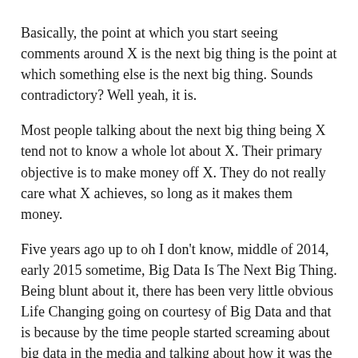Basically, the point at which you start seeing comments around X is the next big thing is the point at which something else is the next big thing. Sounds contradictory? Well yeah, it is.
Most people talking about the next big thing being X tend not to know a whole lot about X. Their primary objective is to make money off X. They do not really care what X achieves, so long as it makes them money.
Five years ago up to oh I don't know, middle of 2014, early 2015 sometime, Big Data Is The Next Big Thing. Being blunt about it, there has been very little obvious Life Changing going on courtesy of Big Data and that is because by the time people started screaming about big data in the media and talking about how it was the future, it had ceased to be the future in the grand scheme of things. Artificial intelligence and machine learning, now they are the next big thing.